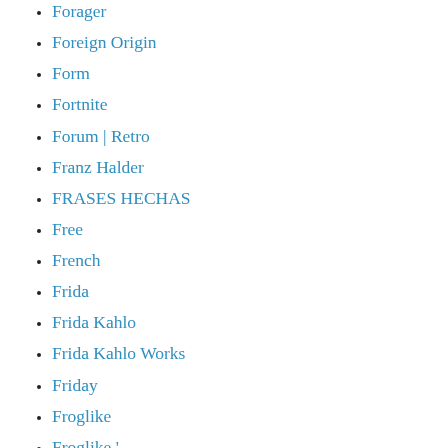Forager
Foreign Origin
Form
Fortnite
Forum | Retro
Franz Halder
FRASES HECHAS
Free
French
Frida
Frida Kahlo
Frida Kahlo Works
Friday
Froglike
Froglike ' –
From Xbox Game